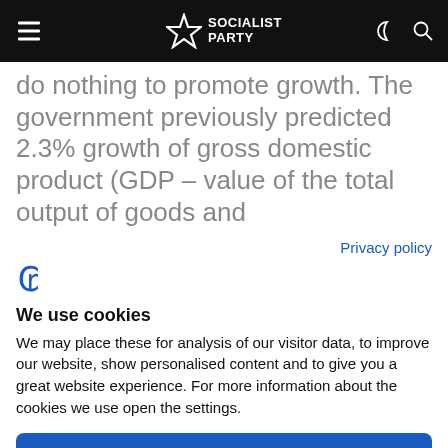Socialist Party
do nothing to promote growth. The government previously predicted 2.3% growth of gross domestic product (GDP – value of the total output of goods and
Privacy policy
[Figure (logo): Cookie consent logo / icon — stylized C with settings gear in blue]
We use cookies
We may place these for analysis of our visitor data, to improve our website, show personalised content and to give you a great website experience. For more information about the cookies we use open the settings.
Accept all
Deny
No, adjust